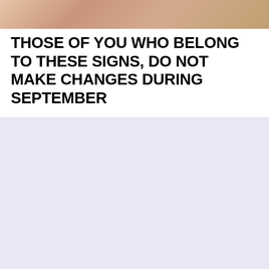[Figure (photo): Partial photo of a person, cropped at the top of the page, showing skin tones and a beige/tan background.]
THOSE OF YOU WHO BELONG TO THESE SIGNS, DO NOT MAKE CHANGES DURING SEPTEMBER
[Figure (other): Large lavender/light purple-blue background block occupying the lower portion of the page.]